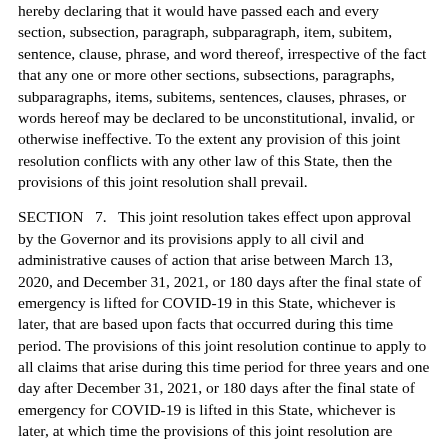hereby declaring that it would have passed each and every section, subsection, paragraph, subparagraph, item, subitem, sentence, clause, phrase, and word thereof, irrespective of the fact that any one or more other sections, subsections, paragraphs, subparagraphs, items, subitems, sentences, clauses, phrases, or words hereof may be declared to be unconstitutional, invalid, or otherwise ineffective. To the extent any provision of this joint resolution conflicts with any other law of this State, then the provisions of this joint resolution shall prevail.
SECTION   7.   This joint resolution takes effect upon approval by the Governor and its provisions apply to all civil and administrative causes of action that arise between March 13, 2020, and December 31, 2021, or 180 days after the final state of emergency is lifted for COVID-19 in this State, whichever is later, that are based upon facts that occurred during this time period. The provisions of this joint resolution continue to apply to all claims that arise during this time period for three years and one day after December 31, 2021, or 180 days after the final state of emergency for COVID-19 is lifted in this State, whichever is later, at which time the provisions of this joint resolution are repealed.
----XX----
This web page was last updated on January 14, 2021 at 11:16 AM